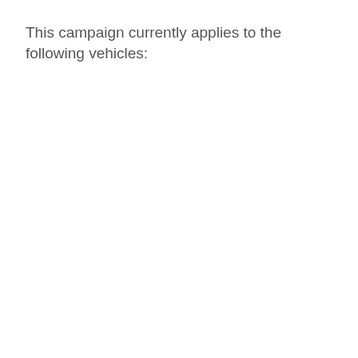This campaign currently applies to the following vehicles: